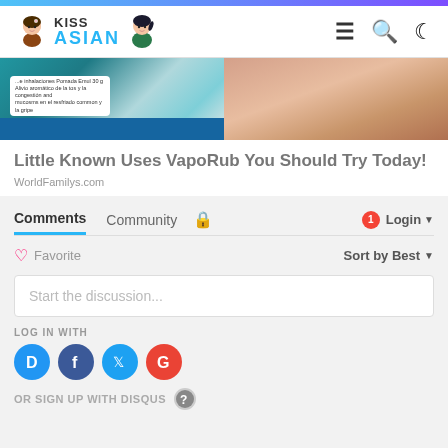KissAsian - website header with logo and navigation icons (hamburger menu, search, dark mode)
[Figure (photo): Partial image showing a VapoRub jar on the left and a person's shoulder/hair on the right]
Little Known Uses VapoRub You Should Try Today!
WorldFamilys.com
Comments  Community  [lock icon]  [1 notification badge]  Login ▾
♡ Favorite    Sort by Best ▾
Start the discussion...
LOG IN WITH
OR SIGN UP WITH DISQUS